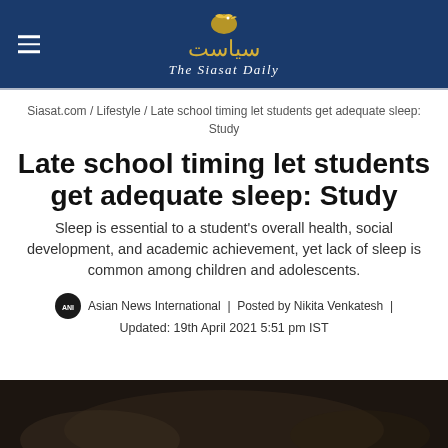The Siasat Daily
Siasat.com / Lifestyle / Late school timing let students get adequate sleep: Study
Late school timing let students get adequate sleep: Study
Sleep is essential to a student's overall health, social development, and academic achievement, yet lack of sleep is common among children and adolescents.
Asian News International | Posted by Nikita Venkatesh | Updated: 19th April 2021 5:51 pm IST
[Figure (photo): Bottom portion of a dark blurred photograph, likely showing a student or classroom scene]